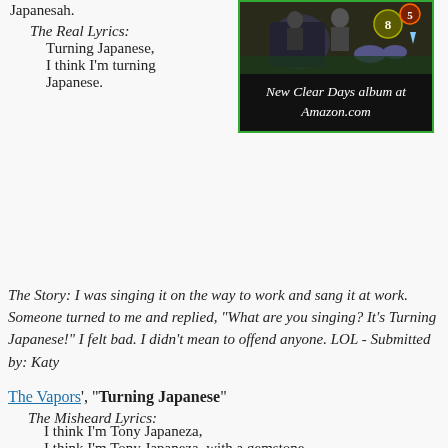Japanesah.
The Real Lyrics:
    Turning Japanese,
    I think I'm turning Japanese.
[Figure (screenshot): Album promotional image for 'New Clear Days' at Amazon.com, dark background with game-like graphic, italic white text reads 'New Clear Days album at Amazon.com']
The Story: I was singing it on the way to work and sang it at work. Someone turned to me and replied, "What are you singing? It's Turning Japanese!" I felt bad. I didn't mean to offend anyone. LOL - Submitted by: Katy
The Vapors', "Turning Japanese"
The Misheard Lyrics:
    I think I'm Tony Japaneza,
    I think I'm Tony Japaneza, with a gemstone
The Real Lyrics:
    I think I'm turning Japanese,
    I think I'm turning Japanese, I really think so
The Story: My friend and I were lifting in the weight room when the song came on the radio. I started singing it to myself, and